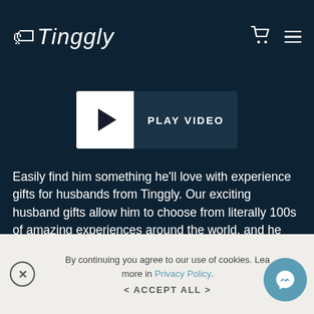Tinggly
[Figure (screenshot): Play video button with white play icon on dark background]
Easily find him something he'll love with experience gifts for husbands from Tinggly. Our exciting husband gifts allow him to choose from literally 100s of amazing experiences around the world, and he can redeem his gift card at a time and place that suits him, making them perfect inspiration for future travel plans.
By continuing you agree to our use of cookies. Learn more in Privacy Policy.
< ACCEPT ALL >